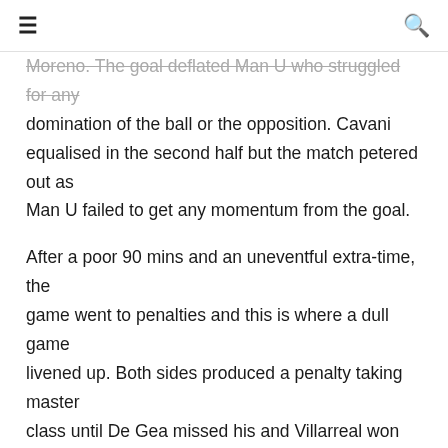≡   🔍
Moreno. The goal deflated Man U who struggled for any domination of the ball or the opposition. Cavani equalised in the second half but the match petered out as Man U failed to get any momentum from the goal.
After a poor 90 mins and an uneventful extra-time, the game went to penalties and this is where a dull game livened up. Both sides produced a penalty taking master class until De Gea missed his and Villarreal won the game 11-10 on pens. The game was a disaster for Man U on many levels. After spending almost one billion on players since Fergie's departure, Solskjaer was reduced to bringing on Mata, James and Telles in extra-time, their squad riddled with nobodies and has-beens. Questions will be asked of the Norwegian manager as to why the